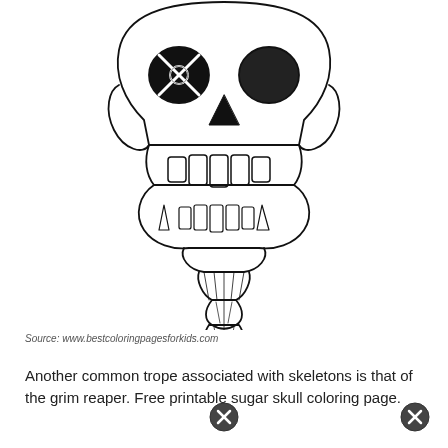[Figure (illustration): Line drawing of a skull with an X mark on one eye socket, prominent teeth and jaw, and a braided hair/beard hanging below the chin. Coloring page style black and white illustration.]
Source: www.bestcoloringpagesforkids.com
Another common trope associated with skeletons is that of the grim reaper. Free printable sugar skull coloring page.